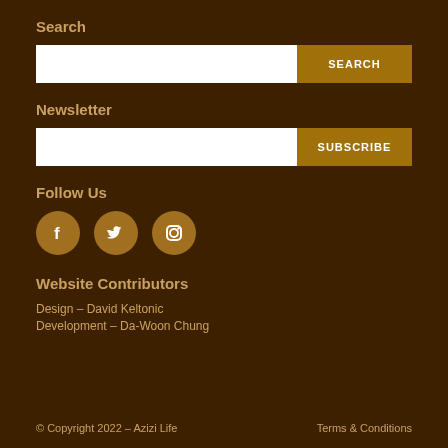Search
[Search input field] SEARCH
Newsletter
[Email input field] SUBSCRIBE
Follow Us
[Figure (illustration): Three social media icons: Facebook (f), Twitter (bird), Instagram (camera outline) — circular brown buttons]
Website Contributors
Design – David Keltonic
Development – Da-Woon Chung
© Copyright 2022 – Azizi Life   Terms & Conditions